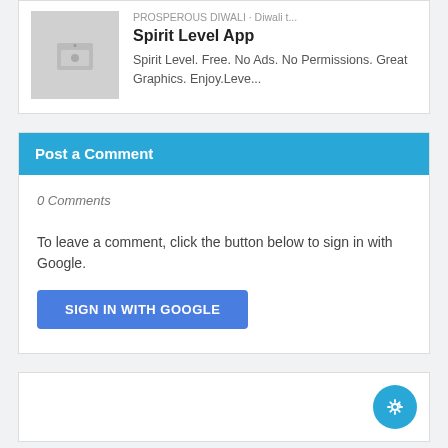PROSPEROUS DIWALI · Diwali t...
Spirit Level App
Spirit Level. Free. No Ads. No Permissions. Great Graphics. Enjoy.Leve...
Post a Comment
0 Comments
To leave a comment, click the button below to sign in with Google.
SIGN IN WITH GOOGLE